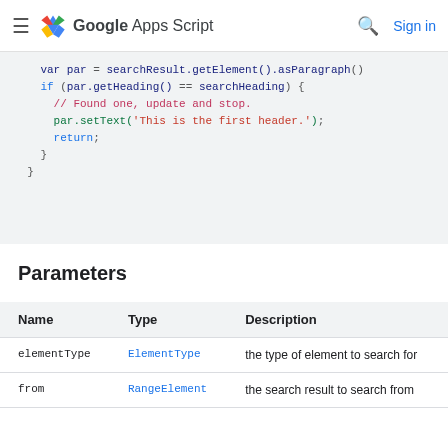Google Apps Script — Sign in
[Figure (screenshot): Code snippet showing var par = searchResult.getElement().asParagraph(), if (par.getHeading() == searchHeading) { // Found one, update and stop. par.setText('This is the first header.'); return; } }]
Parameters
| Name | Type | Description |
| --- | --- | --- |
| elementType | ElementType | the type of element to search for |
| from | RangeElement | the search result to search from |